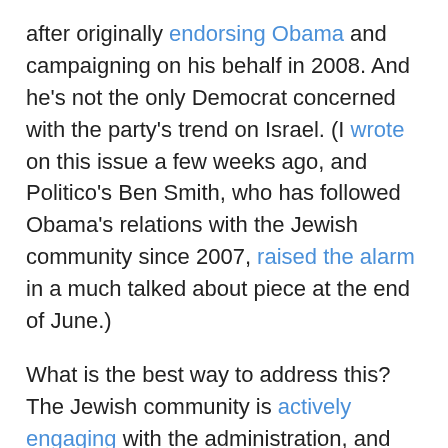after originally endorsing Obama and campaigning on his behalf in 2008. And he's not the only Democrat concerned with the party's trend on Israel. (I wrote on this issue a few weeks ago, and Politico's Ben Smith, who has followed Obama's relations with the Jewish community since 2007, raised the alarm in a much talked about piece at the end of June.)
What is the best way to address this? The Jewish community is actively engaging with the administration, and the Obama reelection campaign is working hard to promote what they believe is their candidate's strong record on Israel. In the meantime, it seems that elevating strongly pro-Israel voices like David Weprin is a better move for Jewish Democrats than trying to tie him to a president's policies that only some consider anti-Israel.